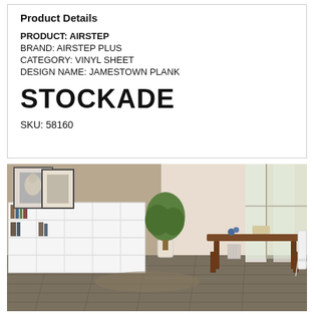Product Details
PRODUCT: AIRSTEP
BRAND: AIRSTEP PLUS
CATEGORY: VINYL SHEET
DESIGN NAME: JAMESTOWN PLANK
STOCKADE
SKU: 58160
[Figure (photo): Room scene showing vinyl plank flooring (Stockade/Jamestown Plank) in a living/dining area with white bookcase, potted tree, dining table and chairs, and large windows with garden view]